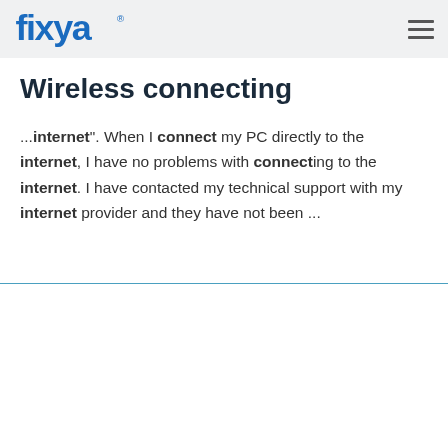fixya
Wireless connecting
...internet". When I connect my PC directly to the internet, I have no problems with connecting to the internet. I have contacted my technical support with my internet provider and they have not been ...